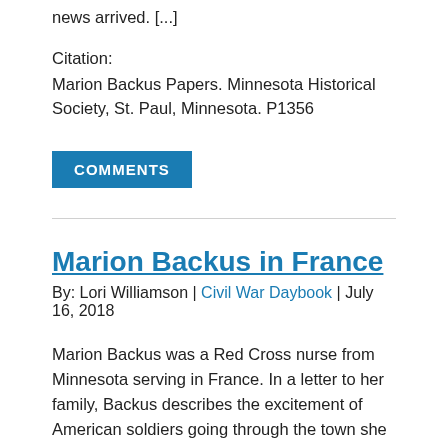news arrived. [...]
Citation:
Marion Backus Papers. Minnesota Historical Society, St. Paul, Minnesota. P1356
COMMENTS
Marion Backus in France
By: Lori Williamson | Civil War Daybook | July 16, 2018
Marion Backus was a Red Cross nurse from Minnesota serving in France. In a letter to her family, Backus describes the excitement of American soldiers going through the town she